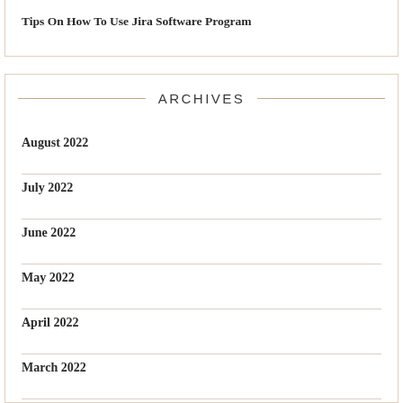Tips On How To Use Jira Software Program
ARCHIVES
August 2022
July 2022
June 2022
May 2022
April 2022
March 2022
February 2022